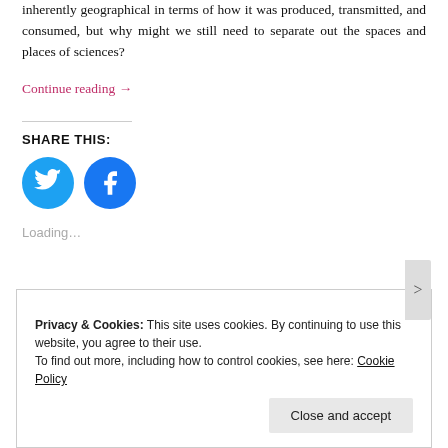Livingstone importantly reminds us of how scientific knowledge is inherently geographical in terms of how it was produced, transmitted, and consumed, but why might we still need to separate out the spaces and places of sciences?
Continue reading →
SHARE THIS:
[Figure (illustration): Twitter and Facebook social share icon buttons — circular blue icons with white bird and 'f' logos respectively]
Loading...
Privacy & Cookies: This site uses cookies. By continuing to use this website, you agree to their use. To find out more, including how to control cookies, see here: Cookie Policy
Close and accept